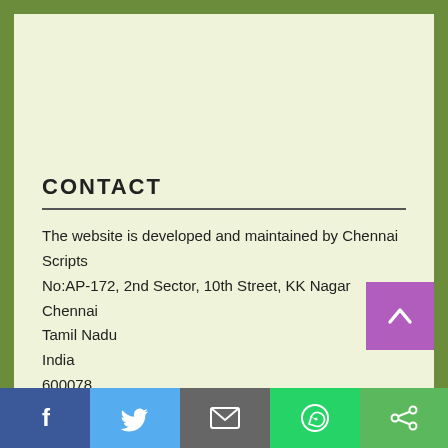CONTACT
The website is developed and maintained by Chennai Scripts
No:AP-172, 2nd Sector, 10th Street, KK Nagar
Chennai
Tamil Nadu
India
600078
E-mail: chennaiscripts@gmail.com
Mobile Phone Number: +91-80560-88967
f  [Twitter]  [Mail]  [WhatsApp]  [Share]